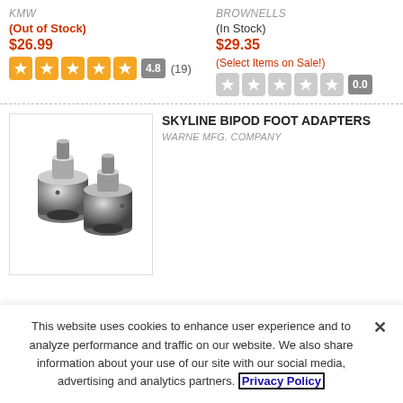KMW
(Out of Stock)
$26.99
4.8 (19)
BROWNELLS
(In Stock)
$29.35
(Select Items on Sale!)
0.0
[Figure (photo): Two metallic cylindrical bipod foot adapters, made of stainless steel, shown side by side on white background]
SKYLINE BIPOD FOOT ADAPTERS
WARNE MFG. COMPANY
This website uses cookies to enhance user experience and to analyze performance and traffic on our website. We also share information about your use of our site with our social media, advertising and analytics partners. Privacy Policy